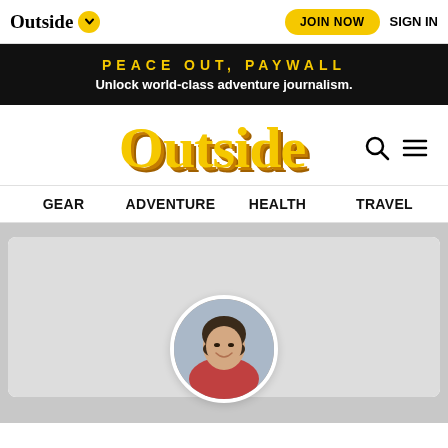Outside ∨   JOIN NOW   SIGN IN
PEACE OUT, PAYWALL
Unlock world-class adventure journalism.
Outside
GEAR   ADVENTURE   HEALTH   TRAVEL
[Figure (photo): Circular portrait photo of a smiling Asian woman, shown from shoulders up, with a light gray background]